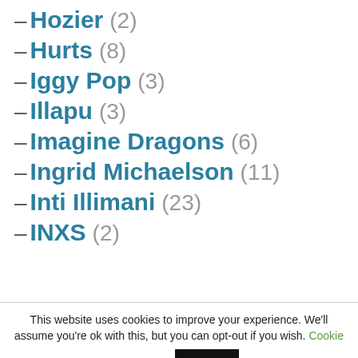– Hozier (2)
– Hurts (8)
– Iggy Pop (3)
– Illapu (3)
– Imagine Dragons (6)
– Ingrid Michaelson (11)
– Inti Illimani (23)
– INXS (2)
This website uses cookies to improve your experience. We'll assume you're ok with this, but you can opt-out if you wish. Cookie settings